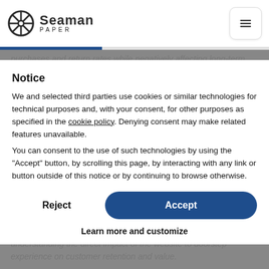[Figure (logo): Seaman Paper logo with ship wheel icon and company name]
purchases and return rates while negatively affecting long-term brand loyalty. When using branded packaging, you are personalizing the unboxing experience for your followers and brand ambassadors, all of which become the same experience as unwrapping your products
Notice
We and selected third parties use cookies or similar technologies for technical purposes and, with your consent, for other purposes as specified in the cookie policy. Denying consent may make related features unavailable.
You can consent to the use of such technologies by using the “Accept” button, by scrolling this page, by interacting with any link or button outside of this notice or by continuing to browse otherwise.
Evolving your online shopping experience has consequences.
As brands consider evolving their packaging allocation, it’s worth understanding the direct impact of the website to doorstep experience on customer retention and value.